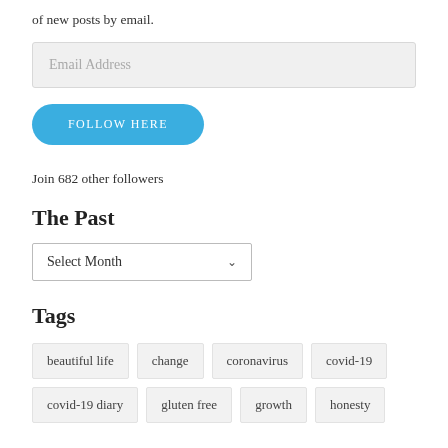of new posts by email.
[Figure (other): Email Address input field]
[Figure (other): FOLLOW HERE button]
Join 682 other followers
The Past
[Figure (other): Select Month dropdown]
Tags
beautiful life
change
coronavirus
covid-19
covid-19 diary
gluten free
growth
honesty